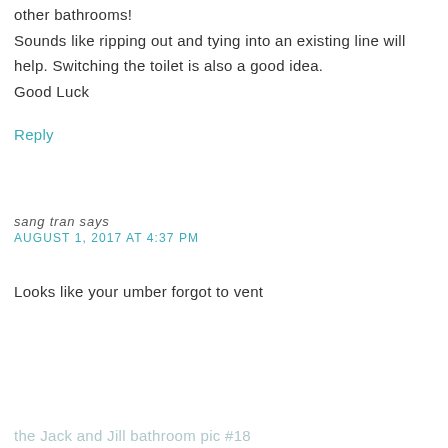other bathrooms!
Sounds like ripping out and tying into an existing line will help. Switching the toilet is also a good idea.
Good Luck
Reply
sang tran says
AUGUST 1, 2017 AT 4:37 PM
Looks like your umber forgot to vent
the Jack and Jill bathroom pic #18